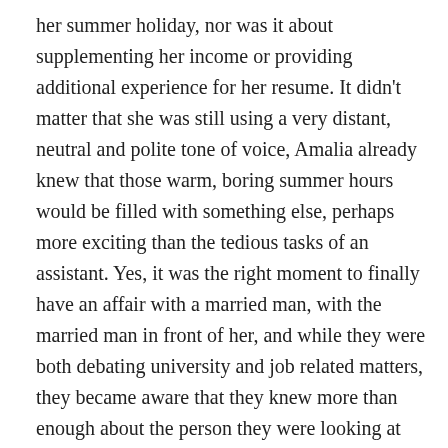her summer holiday, nor was it about supplementing her income or providing additional experience for her resume. It didn't matter that she was still using a very distant, neutral and polite tone of voice, Amalia already knew that those warm, boring summer hours would be filled with something else, perhaps more exciting than the tedious tasks of an assistant. Yes, it was the right moment to finally have an affair with a married man, with the married man in front of her, and while they were both debating university and job related matters, they became aware that they knew more than enough about the person they were looking at from their mutual friend, the one who enjoyed idle gossip so much. She had no doubt he felt the same, and even if he hadn't, her arrogance still wouldn't have allowed her to think otherwise. Amalia found Robert intelligent, intriguing and strong enough in order to consider him the one to make the final cut; besides, she welcomed the new challenge he presented and the